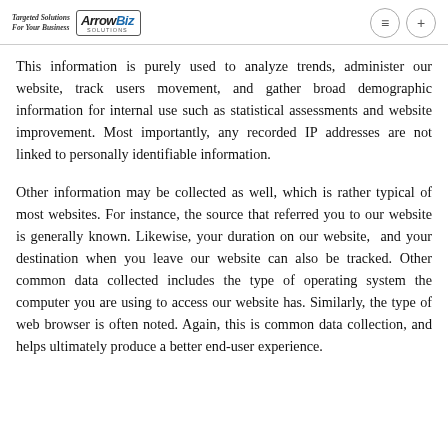Targeted Solutions For Your Business — ArrowBiz Solutions
This information is purely used to analyze trends, administer our website, track users movement, and gather broad demographic information for internal use such as statistical assessments and website improvement. Most importantly, any recorded IP addresses are not linked to personally identifiable information.
Other information may be collected as well, which is rather typical of most websites. For instance, the source that referred you to our website is generally known. Likewise, your duration on our website, and your destination when you leave our website can also be tracked. Other common data collected includes the type of operating system the computer you are using to access our website has. Similarly, the type of web browser is often noted. Again, this is common data collection, and helps ultimately produce a better end-user experience.